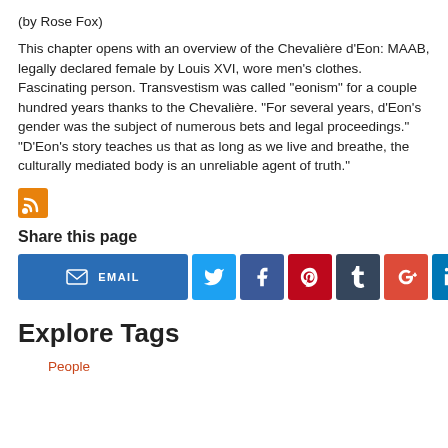(by Rose Fox)
This chapter opens with an overview of the Chevalière d'Eon: MAAB, legally declared female by Louis XVI, wore men's clothes. Fascinating person. Transvestism was called "eonism" for a couple hundred years thanks to the Chevalière. "For several years, d'Eon's gender was the subject of numerous bets and legal proceedings." "D'Eon's story teaches us that as long as we live and breathe, the culturally mediated body is an unreliable agent of truth."
[Figure (other): RSS feed icon (orange square with white radio wave symbol)]
Share this page
[Figure (infographic): Share buttons row: EMAIL (blue), Twitter (light blue), Facebook (dark blue), Pinterest (red), Tumblr (dark navy), Google+ (orange-red), LinkedIn (blue)]
Explore Tags
People